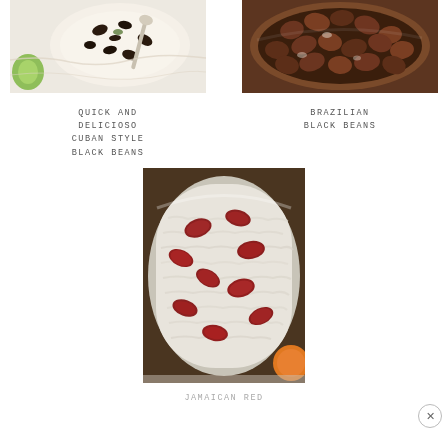[Figure (photo): Close-up food photo of Cuban style black beans with rice and a spoon, lime on the side, white cloth background]
[Figure (photo): Close-up food photo of Brazilian black beans in a bowl]
QUICK AND DELICIOSO CUBAN STYLE BLACK BEANS
BRAZILIAN BLACK BEANS
[Figure (photo): Close-up food photo of Jamaican red beans and rice in a metal bowl]
JAMAICAN RED